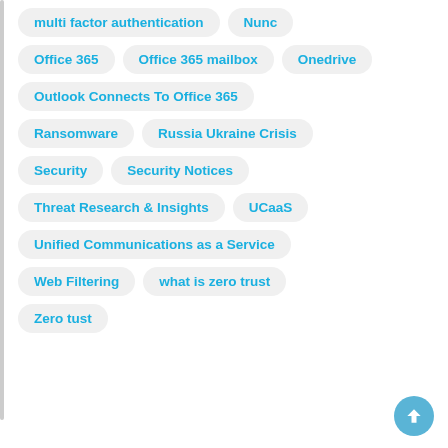multi factor authentication
Nunc
Office 365
Office 365 mailbox
Onedrive
Outlook Connects To Office 365
Ransomware
Russia Ukraine Crisis
Security
Security Notices
Threat Research & Insights
UCaaS
Unified Communications as a Service
Web Filtering
what is zero trust
Zero tust